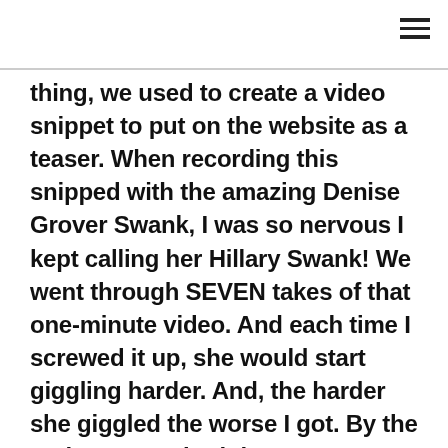thing, we used to create a video snippet to put on the website as a teaser. When recording this snipped with the amazing Denise Grover Swank, I was so nervous I kept calling her Hillary Swank! We went through SEVEN takes of that one-minute video. And each time I screwed it up, she would start giggling harder. And, the harder she giggled the worse I got. By the end, we were both in tears we were laughing so hard. I doubt there are very many celebrities in the world that would have been so gracious when someone gets their name wrong – repeatedly, as sweet as she was. She will forever be an author I absolutely adore and admire if for